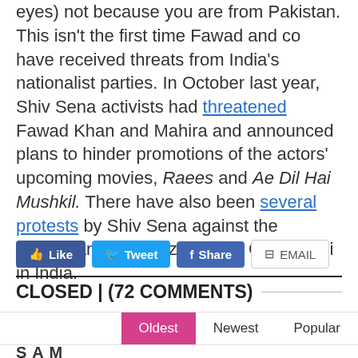eyes) not because you are from Pakistan.
This isn't the first time Fawad and co have received threats from India's nationalist parties. In October last year, Shiv Sena activists had threatened Fawad Khan and Mahira and announced plans to hinder promotions of the actors' upcoming movies, Raees and Ae Dil Hai Mushkil. There have also been several protests by Shiv Sena against the performance of ghazal singer Ghulam Ali in India.
Like | Tweet | Share | EMAIL
CLOSED | (72 COMMENTS)
Oldest | Newest | Popular
SAM